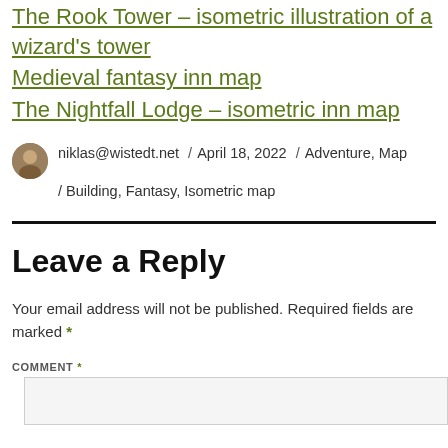The Rook Tower – isometric illustration of a wizard's tower
Medieval fantasy inn map
The Nightfall Lodge – isometric inn map
niklas@wistedt.net / April 18, 2022 / Adventure, Map / Building, Fantasy, Isometric map
Leave a Reply
Your email address will not be published. Required fields are marked *
COMMENT *